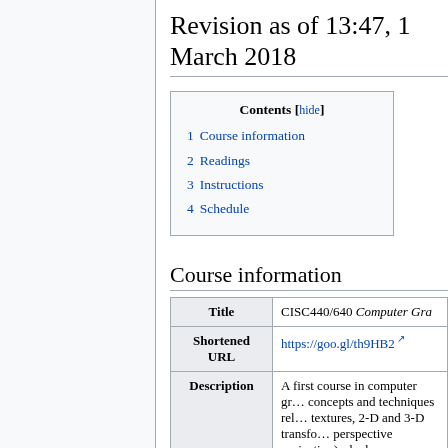Revision as of 13:47, 1 March 2018
| Contents [hide] |
| 1  Course information |
| 2  Readings |
| 3  Instructions |
| 4  Schedule |
Course information
| Title | CISC440/640 Computer Gra… |
| --- | --- |
| Shortened URL | https://goo.gl/th9HB2 |
| Description | A first course in computer gr… concepts and techniques rel… textures, 2-D and 3-D transfo… perspective projection), shad… |